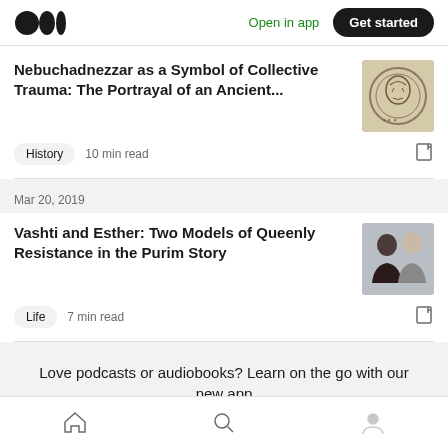Medium logo | Open in app | Get started
Nebuchadnezzar as a Symbol of Collective Trauma: The Portrayal of an Ancient...
History  10 min read
Mar 20, 2019
Vashti and Esther: Two Models of Queenly Resistance in the Purim Story
Life  7 min read
Love podcasts or audiobooks? Learn on the go with our new app